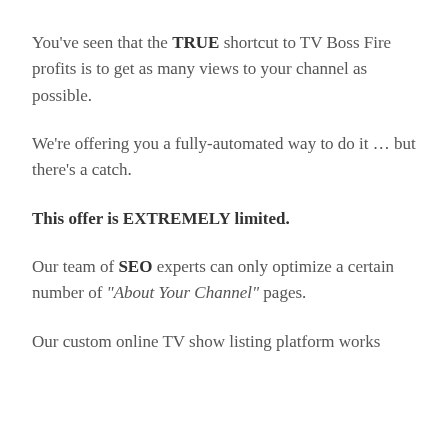You've seen that the TRUE shortcut to TV Boss Fire profits is to get as many views to your channel as possible.
We're offering you a fully-automated way to do it … but there's a catch.
This offer is EXTREMELY limited.
Our team of SEO experts can only optimize a certain number of "About Your Channel" pages.
Our custom online TV show listing platform works